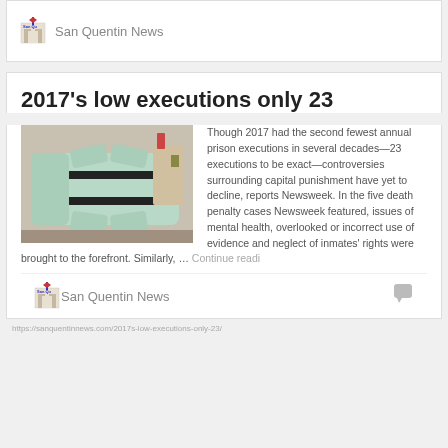San Quentin News
2017's low executions only 23
[Figure (photo): A lethal injection gurney/table with green padding and black restraint straps, in a clinical room setting.]
Though 2017 had the second fewest annual prison executions in several decades—23 executions to be exact—controversies surrounding capital punishment have yet to decline, reports Newsweek. In the five death penalty cases Newsweek featured, issues of mental health, overlooked or incorrect use of evidence and neglect of inmates' rights were brought to the forefront. Similarly, … Continue reading
San Quentin News